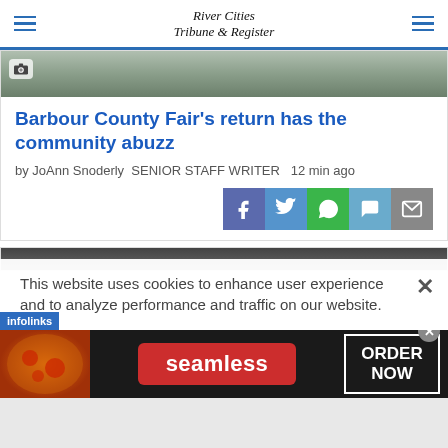River Cities Tribune & Register
[Figure (photo): Aerial or ground-level view of grassy/snowy field, partially visible at top of article card]
Barbour County Fair's return has the community abuzz
by JoAnn Snoderly SENIOR STAFF WRITER   12 min ago
[Figure (infographic): Social media share buttons: Facebook, Twitter, WhatsApp, Message, Email]
[Figure (photo): Second article card image strip, partially visible]
This website uses cookies to enhance user experience and to analyze performance and traffic on our website.
[Figure (screenshot): Advertisement banner: seamless food delivery - ORDER NOW]
infolinks